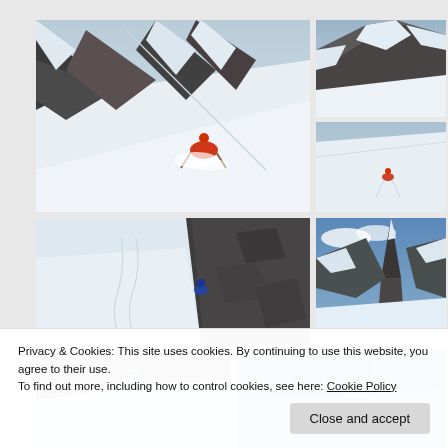[Figure (photo): Large photo of a skier in red jacket carving through deep powder snow on a steep mountain slope with rocky peaks behind]
[Figure (photo): Small photo of a snow-covered mountain peak with rocky outcroppings]
[Figure (photo): Small photo of a skier in red jacket on a wide open snowy mountain face]
[Figure (photo): Photo of a skier in blue jacket on a steep couloir with dark rock faces on the right]
[Figure (photo): Photo of dramatic snowy mountain peaks with a sharp rocky spire against blue sky]
[Figure (photo): Partially visible bottom-left photo of snowy mountain terrain]
[Figure (photo): Partially visible bottom-right photo of snowy mountain terrain with blue glacier tones]
Privacy & Cookies: This site uses cookies. By continuing to use this website, you agree to their use.
To find out more, including how to control cookies, see here: Cookie Policy